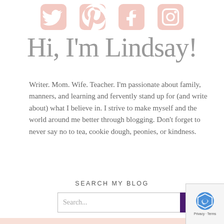[Figure (illustration): Four social media icons in light pink/salmon color: Twitter bird, Pinterest P, Facebook f, Instagram camera — arranged horizontally at the top of the page]
Hi, I'm Lindsay!
Writer. Mom. Wife. Teacher. I'm passionate about family, manners, and learning and fervently stand up for (and write about) what I believe in. I strive to make myself and the world around me better through blogging. Don't forget to never say no to tea, cookie dough, peonies, or kindness.
SEARCH MY BLOG
[Figure (screenshot): Search bar with placeholder text 'Search...' and a dark purple SEARCH button]
Editorials